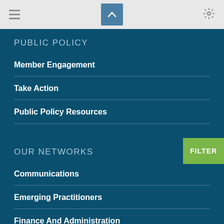Navigation bar with hamburger menu, up button, and settings gear
PUBLIC POLICY
Member Engagement
Take Action
Public Policy Resources
OUR NETWORKS
Communications
Emerging Practitioners
Finance And Administration
Lean, Keen, Producing Machines (PSOs With Up To 5 Staff)